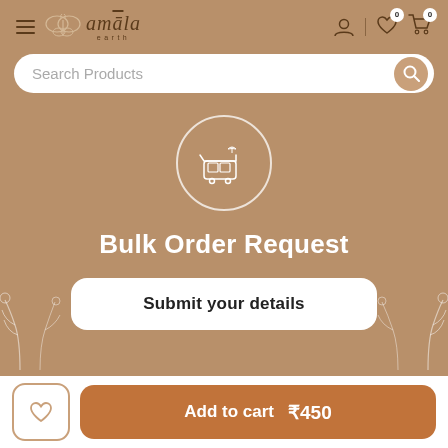[Figure (screenshot): Amala Earth e-commerce mobile app page showing navigation bar with hamburger menu, butterfly logo, brand name 'amala earth', user/wishlist/cart icons, a search bar labeled 'Search Products', a bulk order request section with cart icon in circle, title 'Bulk Order Request', a 'Submit your details' button, decorative floral elements, and a bottom bar with wishlist and 'Add to cart ₹450' button.]
Bulk Order Request
Submit your details
Add to cart   ₹450